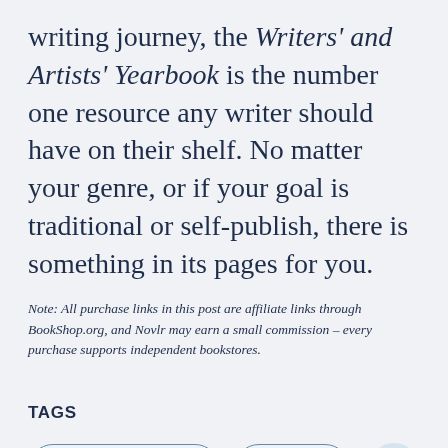writing journey, the Writers' and Artists' Yearbook is the number one resource any writer should have on their shelf. No matter your genre, or if your goal is traditional or self-publish, there is something in its pages for you.
Note: All purchase links in this post are affiliate links through BookShop.org, and Novlr may earn a small commission – every purchase supports independent bookstores.
TAGS
Book Recommendations
Writing Tips